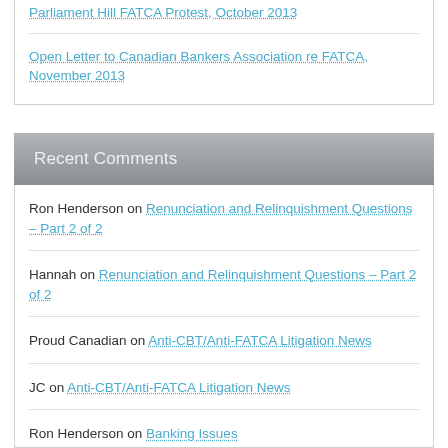Parliament Hill FATCA Protest, October 2013
Open Letter to Canadian Bankers Association re FATCA, November 2013
Recent Comments
Ron Henderson on Renunciation and Relinquishment Questions – Part 2 of 2
Hannah on Renunciation and Relinquishment Questions – Part 2 of 2
Proud Canadian on Anti-CBT/Anti-FATCA Litigation News
JC on Anti-CBT/Anti-FATCA Litigation News
Ron Henderson on Banking Issues